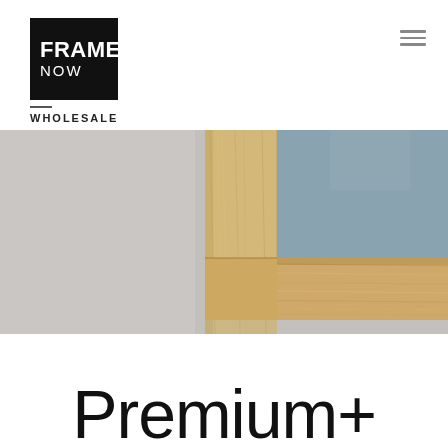[Figure (logo): Frames Now Wholesale logo — black square with FRAMES NOW text in white, and WHOLESALE below]
[Figure (photo): Close-up photo of a wooden picture frame corner (light oak/natural wood) against a white wall, with a hint of blue/grey artwork visible inside the frame]
Premium+